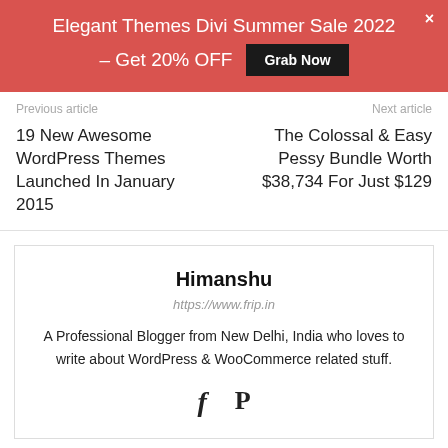Elegant Themes Divi Summer Sale 2022 – Get 20% OFF  Grab Now  ×
Previous article
Next article
19 New Awesome WordPress Themes Launched In January 2015
The Colossal & Easy Pessy Bundle Worth $38,734 For Just $129
Himanshu
https://www.frip.in
A Professional Blogger from New Delhi, India who loves to write about WordPress & WooCommerce related stuff.